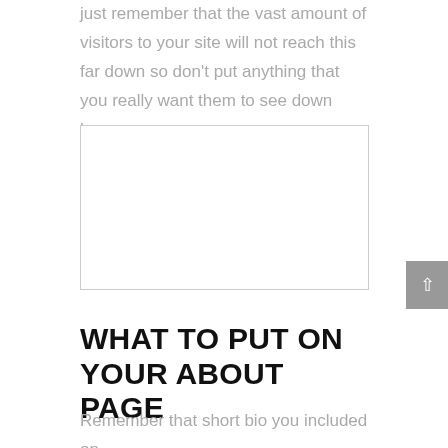just remember that the vast amount of visitors to your site will not reach this far down so don’t put anything that you really want them to see down here.
[Figure (other): Empty white rectangle with a light gray border, used as a placeholder image or ad space.]
WHAT TO PUT ON YOUR ABOUT PAGE
Remember that short bio you included on the homepage? Well, this is where they